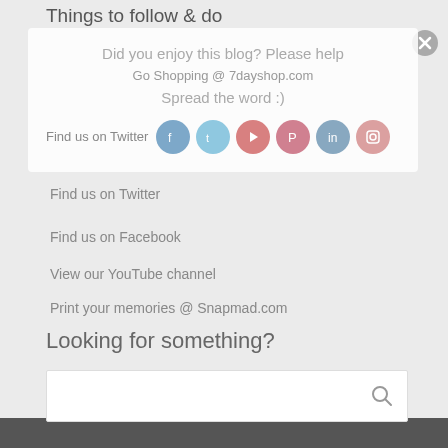Things to follow & do
[Figure (other): Overlay popup card with social share message: 'Did you enjoy this blog? Please help Go Shopping @ 7dayshop.com Spread the word :)' with social media icons row and a close button]
Find us on Twitter
Find us on Facebook
View our YouTube channel
Print your memories @ Snapmad.com
Looking for something?
[Figure (other): Search input bar with magnifying glass icon on the right]